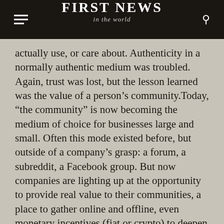FIRST NEWS in the world
actually use, or care about. Authenticity in a normally authentic medium was troubled. Again, trust was lost, but the lesson learned was the value of a person's community.Today, “the community” is now becoming the medium of choice for businesses large and small. Often this mode existed before, but outside of a company’s grasp: a forum, a subreddit, a Facebook group. But now companies are lighting up at the opportunity to provide real value to their communities, a place to gather online and offline, even monetary incentives (fiat or crypto) to deepen their involvement. It finally feels like there’s a true conversation happening between consumer’s wants and needs and the brand’s